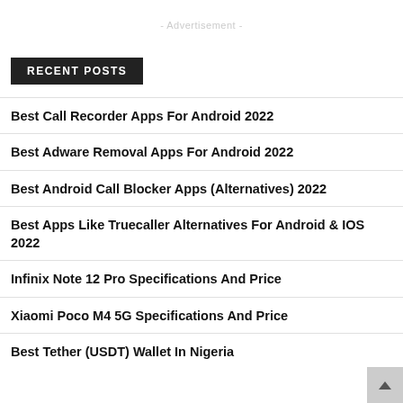- Advertisement -
RECENT POSTS
Best Call Recorder Apps For Android 2022
Best Adware Removal Apps For Android 2022
Best Android Call Blocker Apps (Alternatives) 2022
Best Apps Like Truecaller Alternatives For Android & IOS 2022
Infinix Note 12 Pro Specifications And Price
Xiaomi Poco M4 5G Specifications And Price
Best Tether (USDT) Wallet In Nigeria